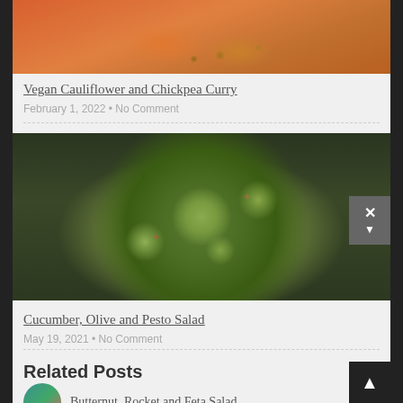[Figure (photo): Top-cropped photo of vegan cauliflower and chickpea curry in a light blue bowl with orange broth and chickpeas on top, viewed from above]
Vegan Cauliflower and Chickpea Curry
February 1, 2022 • No Comment
[Figure (photo): Overhead photo of cucumber, olive and pesto salad in a dark brown bowl on a dark wooden table, with sliced cucumbers, red chili flakes, olives, and green herbs]
Cucumber, Olive and Pesto Salad
May 19, 2021 • No Comment
Related Posts
Butternut, Rocket and Feta Salad